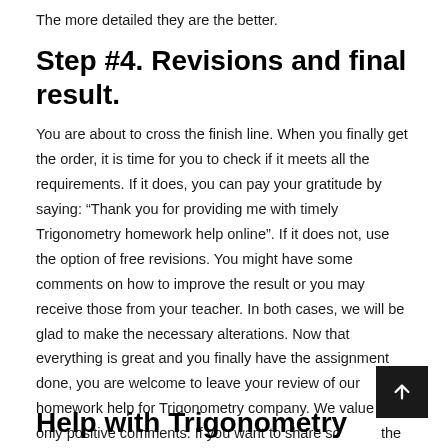The more detailed they are the better.
Step #4. Revisions and final result.
You are about to cross the finish line. When you finally get the order, it is time for you to check if it meets all the requirements. If it does, you can pay your gratitude by saying: “Thank you for providing me with timely Trigonometry homework help online”. If it does not, use the option of free revisions. You might have some comments on how to improve the result or you may receive those from your teacher. In both cases, we will be glad to make the necessary alterations. Now that everything is great and you finally have the assignment done, you are welcome to leave your review of our homework help for Trigonometry company. We value not only positive comments. If you want to share some of the possible ways to improve this service, we will be grate
Help with Trigonometry